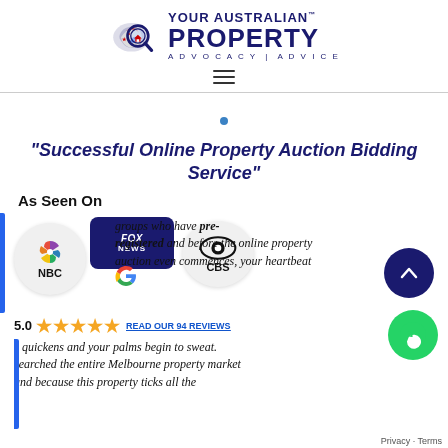[Figure (logo): Your Australian Property logo with map icon and magnifying glass, text reads YOUR AUSTRALIAN PROPERTY ADVOCACY | ADVICE]
"Successful Online Property Auction Bidding Service"
As Seen On
[Figure (logo): NBC logo, Fox News logo, CBS logo, Google G logo arranged in a row]
groups who have pre-registered and before the online property auction even commences, your heartbeat quickens and your palms begin to sweat. searched the entire Melbourne property market and because this property ticks all the boxes, you committed during this process.
5.0 ★★★★★ READ OUR 94 REVIEWS